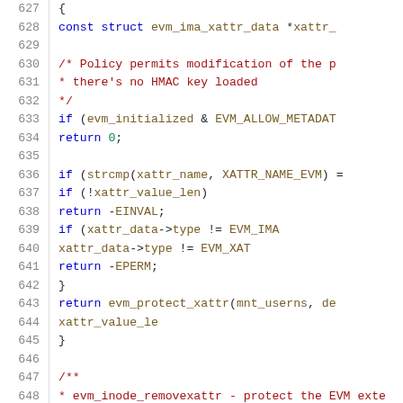Source code listing lines 627-648, C kernel code for EVM xattr protection